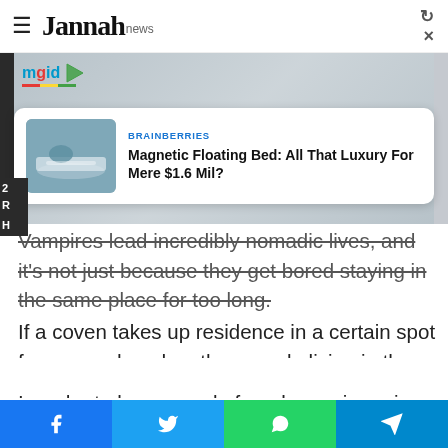≡ Jannah news
[Figure (screenshot): mgid ad network logo with colorful underline and play button icon, over a blurred background image. Contains an ad card with 'BRAINBERRIES' brand label and article 'Magnetic Floating Bed: All That Luxury For Mere $1.6 Mil?' with thumbnail image.]
Vampires lead incredibly nomadic lives, and it's not just because they get bored staying in the same place for too long. If a coven takes up residence in a certain spot for over a decade, other people living in the same town as them might notice that they don't ever appear to age, and after a while, that could arouse some major suspicion.
In order to keep people from becoming privy to their immortal
Facebook  Twitter  WhatsApp  Telegram